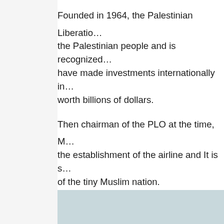Founded in 1964, the Palestinian Liberation Organization represents the Palestinian people and is recognized as such. They have made investments internationally in many industries worth billions of dollars.
Then chairman of the PLO at the time, Mr. [name] supported the establishment of the airline and It is said to be the pride of the tiny Muslim nation.
Maldives Airways was headed by Faiz Zaid... Aviation Authority of Palestine.
The maiden flight of Maldives airways was... with local officials and travel agents.
[Figure (photo): Partial view of an airplane or airport scene with light blue-grey sky background]